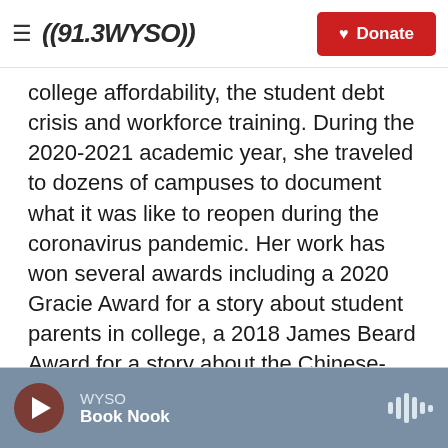≡ ((91.3 WYSO)) ♥ Donate
college affordability, the student debt crisis and workforce training. During the 2020-2021 academic year, she traveled to dozens of campuses to document what it was like to reopen during the coronavirus pandemic. Her work has won several awards including a 2020 Gracie Award for a story about student parents in college, a 2018 James Beard Award for a story about the Chinese-American population in the Mississippi Delta and a 2017 Edward R. Murrow Award for excellence in innovation.
See stories by Elissa Nadworny
WYSO Book Nook